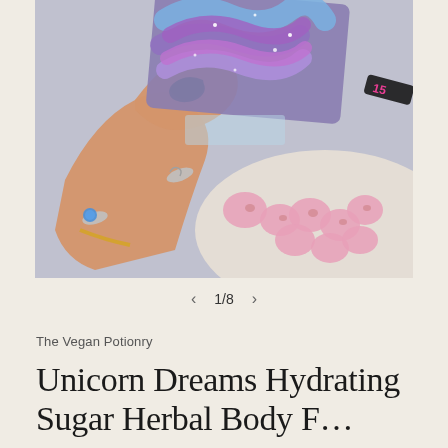[Figure (photo): Close-up photo of a hand holding a colorful purple and blue swirled soap bar with glitter, with pink small soaps or bath products in a glass dish in the background. The hand has dark green nail polish and silver rings including a mermaid/fish ring and a blue gemstone ring.]
1/8
The Vegan Potionry
Unicorn Dreams Hydrating Sugar Herbal Body F...